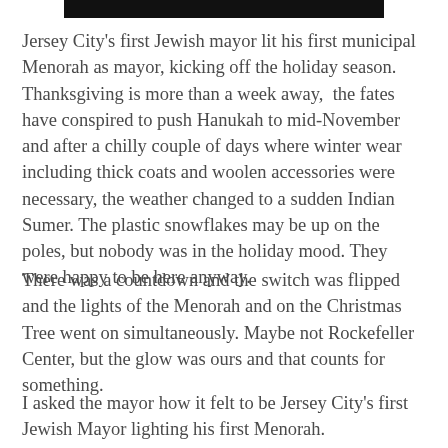[Figure (photo): Dark image strip at the top of the page]
Jersey City’s first Jewish mayor lit his first municipal Menorah as mayor, kicking off the holiday season. Thanksgiving is more than a week away,  the fates have conspired to push Hanukah to mid-November and after a chilly couple of days where winter wear including thick coats and woolen accessories were necessary, the weather changed to a sudden Indian Sumer. The plastic snowflakes may be up on the poles, but nobody was in the holiday mood. They were happy to be here anyway.
There was a countdown and the switch was flipped and the lights of the Menorah and on the Christmas Tree went on simultaneously. Maybe not Rockefeller Center, but the glow was ours and that counts for something.
I asked the mayor how it felt to be Jersey City’s first Jewish Mayor lighting his first Menorah.